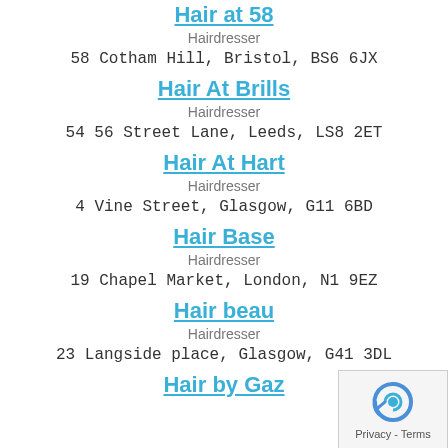Hair at 58
Hairdresser
58 Cotham Hill, Bristol, BS6 6JX
Hair At Brills
Hairdresser
54 56 Street Lane, Leeds, LS8 2ET
Hair At Hart
Hairdresser
4 Vine Street, Glasgow, G11 6BD
Hair Base
Hairdresser
19 Chapel Market, London, N1 9EZ
Hair beau
Hairdresser
23 Langside place, Glasgow, G41 3DL
Hair by Gaz